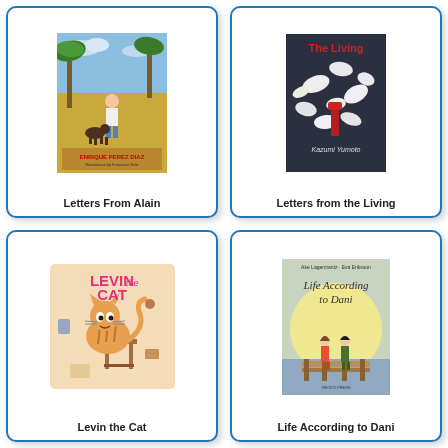[Figure (illustration): Book cover for 'Letters From Alain' showing a boy standing in a tropical field with a dog, palm trees, and the author name Enrique Perez Diaz]
Letters From Alain
[Figure (illustration): Book cover for 'Letters from the Living' showing a dark background with paper/tissue shapes and author name Kazumi Yumoto]
Letters from the Living
[Figure (illustration): Book cover for 'Levin the Cat' showing a cartoon orange tabby cat on a stool with scattered objects on a peach/beige background with pink text]
Levin the Cat
[Figure (illustration): Book cover for 'Life According to Dani' showing two children standing on a dock in front of a large moon, with author names Ake Lagerrantz and Eva Erikkson]
Life According to Dani